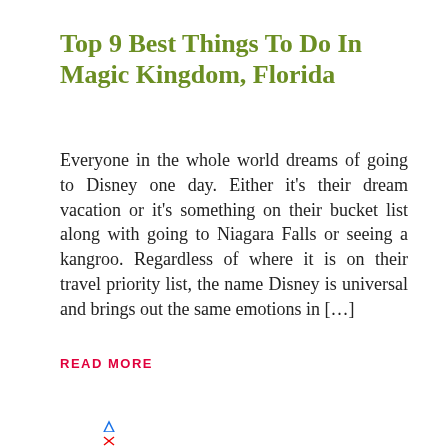Top 9 Best Things To Do In Magic Kingdom, Florida
Everyone in the whole world dreams of going to Disney one day. Either it's their dream vacation or it's something on their bucket list along with going to Niagara Falls or seeing a kangroo. Regardless of where it is on their travel priority list, the name Disney is universal and brings out the same emotions in […]
READ MORE
[Figure (other): Advertisement box showing Exxon gas station in Chantilly, OPEN 6AM-12AM, 42382 JOHN MOSBY HIGHWA..., with navigation arrow icon]